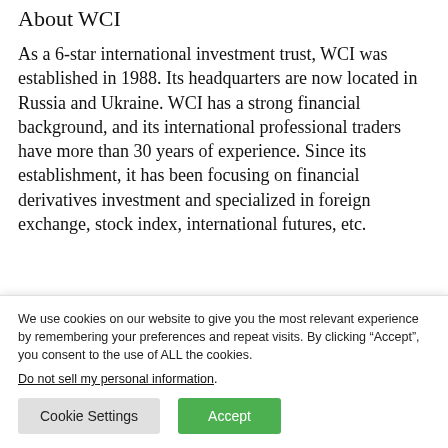About WCI
As a 6-star international investment trust, WCI was established in 1988. Its headquarters are now located in Russia and Ukraine. WCI has a strong financial background, and its international professional traders have more than 30 years of experience. Since its establishment, it has been focusing on financial derivatives investment and specialized in foreign exchange, stock index, international futures, etc.
We use cookies on our website to give you the most relevant experience by remembering your preferences and repeat visits. By clicking “Accept”, you consent to the use of ALL the cookies.
Do not sell my personal information.